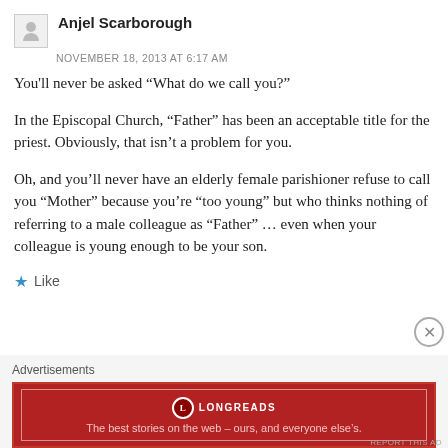Anjel Scarborough
NOVEMBER 18, 2013 AT 6:17 AM
You'll never be asked “What do we call you?”
In the Episcopal Church, “Father” has been an acceptable title for the priest. Obviously, that isn’t a problem for you.
Oh, and you’ll never have an elderly female parishioner refuse to call you “Mother” because you’re “too young” but who thinks nothing of referring to a male colleague as “Father” … even when your colleague is young enough to be your son.
Like
Advertisements
[Figure (other): Longreads advertisement banner: red background with Longreads logo and tagline 'The best stories on the web – ours, and everyone else’s.']